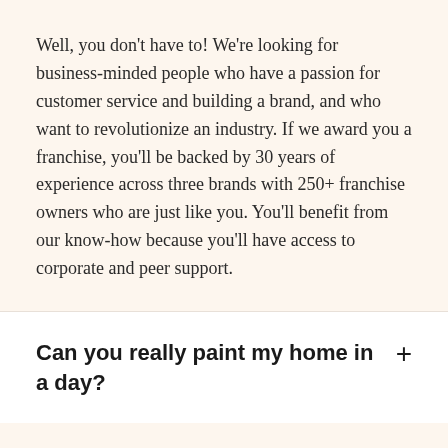Well, you don't have to! We're looking for business-minded people who have a passion for customer service and building a brand, and who want to revolutionize an industry. If we award you a franchise, you'll be backed by 30 years of experience across three brands with 250+ franchise owners who are just like you. You'll benefit from our know-how because you'll have access to corporate and peer support.
Can you really paint my home in a day?